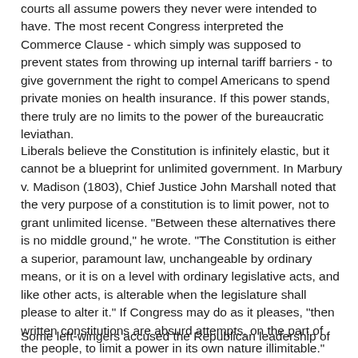courts all assume powers they never were intended to have. The most recent Congress interpreted the Commerce Clause - which simply was supposed to prevent states from throwing up internal tariff barriers - to give government the right to compel Americans to spend private monies on health insurance. If this power stands, there truly are no limits to the power of the bureaucratic leviathan.
Liberals believe the Constitution is infinitely elastic, but it cannot be a blueprint for unlimited government. In Marbury v. Madison (1803), Chief Justice John Marshall noted that the very purpose of a constitution is to limit power, not to grant unlimited license. "Between these alternatives there is no middle ground," he wrote. "The Constitution is either a superior, paramount law, unchangeable by ordinary means, or it is on a level with ordinary legislative acts, and like other acts, is alterable when the legislature shall please to alter it." If Congress may do as it pleases, "then written constitutions are absurd attempts, on the part of the people, to limit a power in its own nature illimitable."
Some left-wingers accused the Republican leadership of